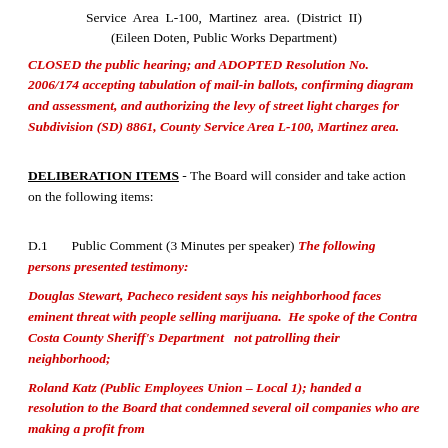Service Area L-100, Martinez area. (District II)
(Eileen Doten, Public Works Department)
CLOSED the public hearing; and ADOPTED Resolution No. 2006/174 accepting tabulation of mail-in ballots, confirming diagram and assessment, and authorizing the levy of street light charges for Subdivision (SD) 8861, County Service Area L-100, Martinez area.
DELIBERATION ITEMS - The Board will consider and take action on the following items:
D.1 Public Comment (3 Minutes per speaker) The following persons presented testimony:
Douglas Stewart, Pacheco resident says his neighborhood faces eminent threat with people selling marijuana. He spoke of the Contra Costa County Sheriff's Department not patrolling their neighborhood;
Roland Katz (Public Employees Union – Local 1); handed a resolution to the Board that condemned several oil companies who are making a profit from